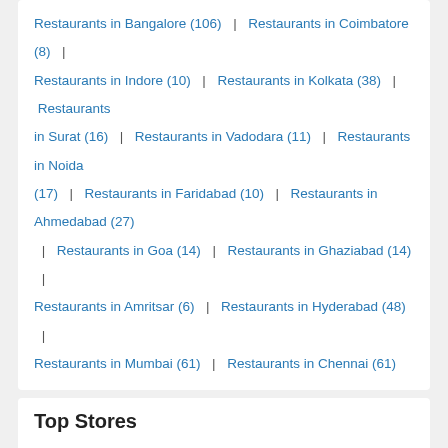Restaurants in Bangalore (106) | Restaurants in Coimbatore (8) | Restaurants in Indore (10) | Restaurants in Kolkata (38) | Restaurants in Surat (16) | Restaurants in Vadodara (11) | Restaurants in Noida (17) | Restaurants in Faridabad (10) | Restaurants in Ahmedabad (27) | Restaurants in Goa (14) | Restaurants in Ghaziabad (14) | Restaurants in Amritsar (6) | Restaurants in Hyderabad (48) | Restaurants in Mumbai (61) | Restaurants in Chennai (61)
Top Stores
AMAN ARCADE HARMU ROAD RANCHI JHARKHAND | VEGA THE MALL - AJMER | SECTOR-CUE-II | CITY CENTRE | BANDRA (EAST) | SARABHA NAGAR LUDHIANA | RAM MANDIR RAJAJI NAGAR BANGALORE KARNATAKA | INFOSYS MAHINDRA WORLD CIT | VIMAWALA ARCADE COMPLEX ANAND | SJP PLAZA, MATHURA
All Restaurants In Rudrapur